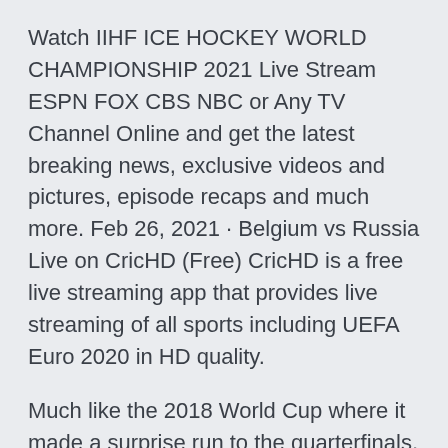Watch IIHF ICE HOCKEY WORLD CHAMPIONSHIP 2021 Live Stream ESPN FOX CBS NBC or Any TV Channel Online and get the latest breaking news, exclusive videos and pictures, episode recaps and much more. Feb 26, 2021 · Belgium vs Russia Live on CricHD (Free) CricHD is a free live streaming app that provides live streaming of all sports including UEFA Euro 2020 in HD quality.
Much like the 2018 World Cup where it made a surprise run to the quarterfinals, Russia will play from the comforts of home for its first two games of the Euros against Belgium and Finland before heading to Denmark for its final group stage match. How Euro 2020 Belgium vs Russia Live Stream From Anywhere in the World including Belgium vs Russia Live Stream, Location and